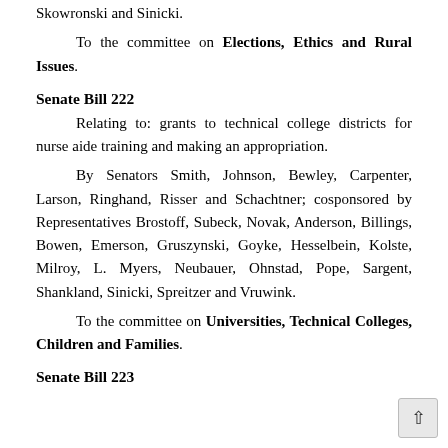Skowronski and Sinicki.
To the committee on Elections, Ethics and Rural Issues.
Senate Bill 222
Relating to: grants to technical college districts for nurse aide training and making an appropriation.
By Senators Smith, Johnson, Bewley, Carpenter, Larson, Ringhand, Risser and Schachtner; cosponsored by Representatives Brostoff, Subeck, Novak, Anderson, Billings, Bowen, Emerson, Gruszynski, Goyke, Hesselbein, Kolste, Milroy, L. Myers, Neubauer, Ohnstad, Pope, Sargent, Shankland, Sinicki, Spreitzer and Vruwink.
To the committee on Universities, Technical Colleges, Children and Families.
Senate Bill 223